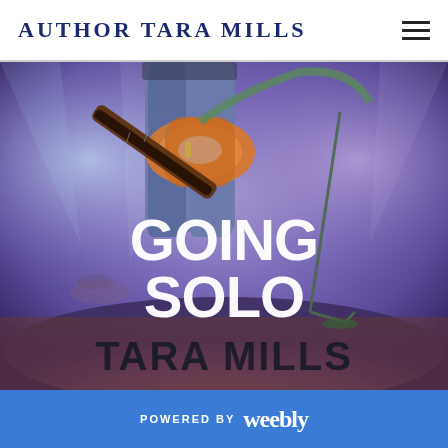AUTHOR TARA MILLS
[Figure (photo): Book cover for 'Going Solo' by Tara Mills. Shows a guitarist on stage with purple/blue concert lighting, holding an orange electric guitar. Large white bold text reads 'GOING SOLO' in the center, and 'TARA MILLS' in large dark text at the bottom of the cover.]
POWERED BY weebly